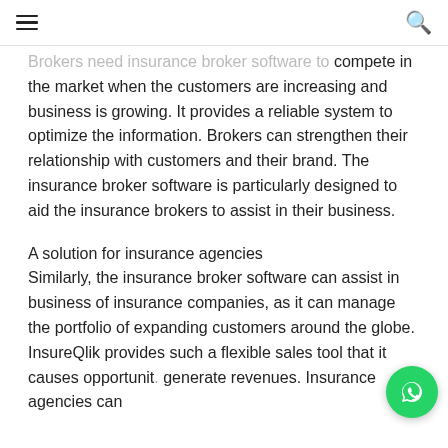[hamburger menu] [search icon]
Brokers need insurance broker software to compete in the market when the customers are increasing and business is growing. It provides a reliable system to optimize the information. Brokers can strengthen their relationship with customers and their brand. The insurance broker software is particularly designed to aid the insurance brokers to assist in their business.
A solution for insurance agencies
Similarly, the insurance broker software can assist in business of insurance companies, as it can manage the portfolio of expanding customers around the globe. InsureQlik provides such a flexible sales tool that it causes opportunit... generate revenues. Insurance agencies can